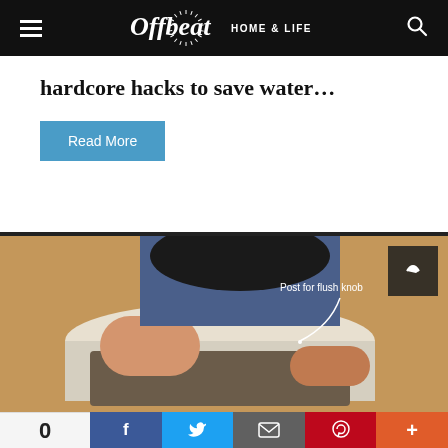Offbeat HOME & LIFE
hardcore hacks to save water…
Read More
[Figure (photo): Person working on toilet tank interior with annotation 'Post for flush knob' and a share icon in top right corner.]
0  [Facebook] [Twitter] [Email] [Pinterest] [More]